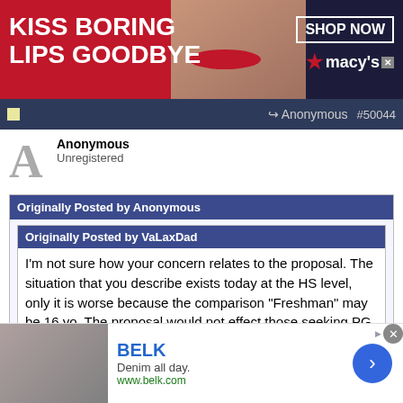[Figure (photo): Macy's advertisement banner: 'KISS BORING LIPS GOODBYE' with woman's face and red lips, SHOP NOW button, Macy's logo on dark blue background]
Anonymous  #50044
Anonymous
Unregistered
Originally Posted by Anonymous
Originally Posted by VaLaxDad
I'm not sure how your concern relates to the proposal. The situation that you describe exists today at the HS level, only it is worse because the comparison "Freshman" may be 16 yo. The proposal would not effect those seeking PG yrs- the late bloomers (Rob Pannell, for example). PG is a real option, the offer's exist as you
[Figure (photo): BELK advertisement: denim clothing, 'Denim all day. www.belk.com', with blue arrow button and close X]